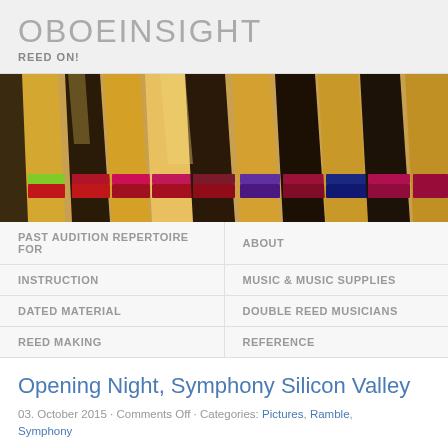OBOEINSIGHT
REED ON!
[Figure (photo): Close-up photo of multiple oboe reeds standing upright, showing the cane tips and colorful thread wrappings including green, red, magenta, purple, blue against a warm golden background.]
PAST AUDITION REPERTOIRE FOR
ABOUT
INSTRUCTION
MUSIC & MUSIC SUPPLIES
DATED MATERIAL
DOUBLE REED MUSICIANS
REED MAKING
REFERENCE
Opening Night, Symphony Silicon Valley
03. October 2015 · Comments Off · Categories: Pictures, Ramble, Symphony